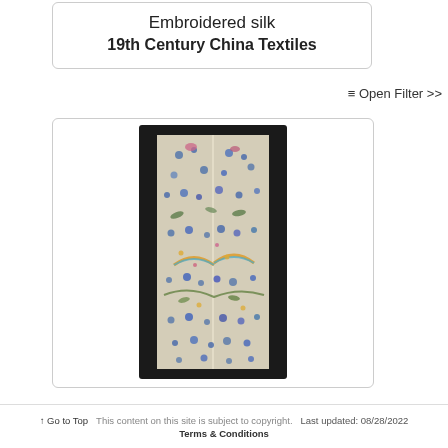Embroidered silk
19th Century China Textiles
≡ Open Filter >>
[Figure (photo): A vertically oriented embroidered silk textile from 19th Century China. The piece has a dark black border/frame on either side, and the center shows densely embroidered floral and bird patterns in blues, greens, pinks, and yellows on a light beige/cream background. A thin vertical line runs down the center of the textile.]
↑ Go to Top   This content on this site is subject to copyright.   Last updated: 08/28/2022
Terms & Conditions